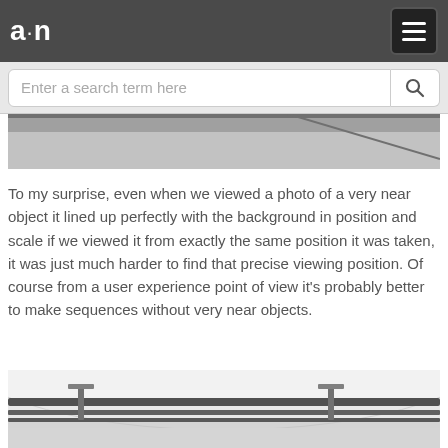a·n
[Figure (screenshot): Website navigation bar with a·n logo on left and hamburger menu button on right, dark gray background]
[Figure (screenshot): Search bar with placeholder text 'Enter a search term here' and a search icon button, light gray background]
[Figure (photo): Partial cropped photo showing gray wall/ceiling, top portion only visible]
To my surprise, even when we viewed a photo of a very near object it lined up perfectly with the background in position and scale if we viewed it from exactly the same position it was taken, it was just much harder to find that precise viewing position. Of course from a user experience point of view it's probably better to make sequences without very near objects.
[Figure (photo): Photo showing exposed pipes or conduits running horizontally along a white ceiling/wall, with metal hanging hardware visible]